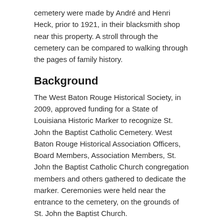cemetery were made by André and Henri Heck, prior to 1921, in their blacksmith shop near this property. A stroll through the cemetery can be compared to walking through the pages of family history.
Background
The West Baton Rouge Historical Society, in 2009, approved funding for a State of Louisiana Historic Marker to recognize St. John the Baptist Catholic Cemetery. West Baton Rouge Historical Association Officers, Board Members, Association Members, St. John the Baptist Catholic Church congregation members and others gathered to dedicate the marker. Ceremonies were held near the entrance to the cemetery, on the grounds of St. John the Baptist Church.
Ceremony
West Baton Rouge Historical Association President Evva Z. Wilson welcomed those in attendance and presided over the program. The Pledge of Allegiance was [Select Language widget] Sr, St. John the Baptist Cemetery Association President.